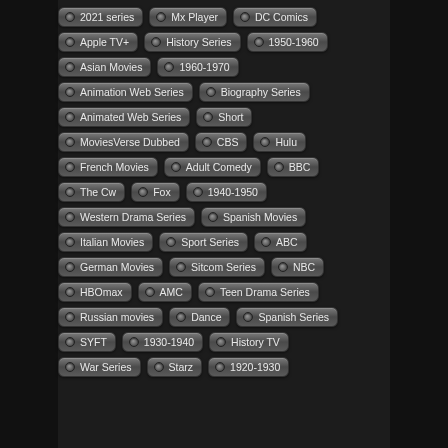2021 series
Mx Player
DC Comics
Apple TV+
History Series
1950-1960
Asian Movies
1960-1970
Animation Web Series
Biography Series
Animated Web Series
Short
MoviesVerse Dubbed
CBS
Hulu
French Movies
Adult Comedy
BBC
The Cw
Fox
1940-1950
Western Drama Series
Spanish Movies
Italian Movies
Sport Series
ABC
German Movies
Sitcom Series
NBC
HBOmax
AMC
Teen Drama Series
Russian movies
Dance
Spanish Series
SYFT
1930-1940
History TV
War Series
Starz
1920-1930